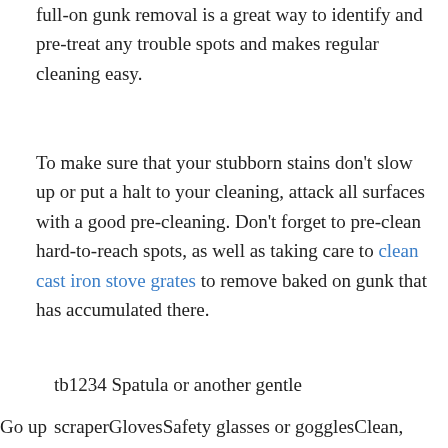full-on gunk removal is a great way to identify and pre-treat any trouble spots and makes regular cleaning easy.
To make sure that your stubborn stains don't slow up or put a halt to your cleaning, attack all surfaces with a good pre-cleaning. Don't forget to pre-clean hard-to-reach spots, as well as taking care to clean cast iron stove grates to remove baked on gunk that has accumulated there.
tb1234 Spatula or another gentle scraperGlovesSafety glasses or gogglesClean,
Go up